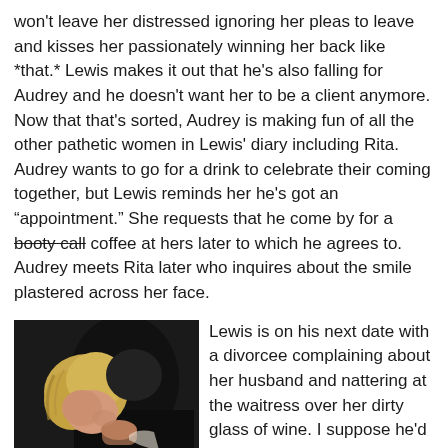won't leave her distressed ignoring her pleas to leave and kisses her passionately winning her back like *that.* Lewis makes it out that he's also falling for Audrey and he doesn't want her to be a client anymore. Now that that's sorted, Audrey is making fun of all the other pathetic women in Lewis' diary including Rita. Audrey wants to go for a drink to celebrate their coming together, but Lewis reminds her he's got an "appointment." She requests that he come by for a booty call coffee at hers later to which he agrees to. Audrey meets Rita later who inquires about the smile plastered across her face.
[Figure (photo): Two people kissing closely, dark background, one with blonde hair.]
Lewis is on his next date with a divorcee complaining about her husband and nattering at the waitress over her dirty glass of wine. I suppose he'd rather be with Audrey right now. He arrives at Audrey and tells her how insufferable his appointment was. Audrey exclaims, "I am a gigolo, get me out of here" to which Lewis corrects her and says